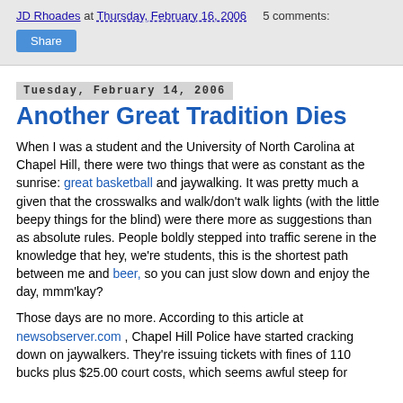JD Rhoades at Thursday, February 16, 2006   5 comments:
Share
Tuesday, February 14, 2006
Another Great Tradition Dies
When I was a student and the University of North Carolina at Chapel Hill, there were two things that were as constant as the sunrise: great basketball and jaywalking. It was pretty much a given that the crosswalks and walk/don't walk lights (with the little beepy things for the blind) were there more as suggestions than as absolute rules. People boldly stepped into traffic serene in the knowledge that hey, we're students, this is the shortest path between me and beer, so you can just slow down and enjoy the day, mmm'kay?
Those days are no more. According to this article at newsobserver.com , Chapel Hill Police have started cracking down on jaywalkers. They're issuing tickets with fines of 110 bucks plus $25.00 court costs, which seems awful steep for